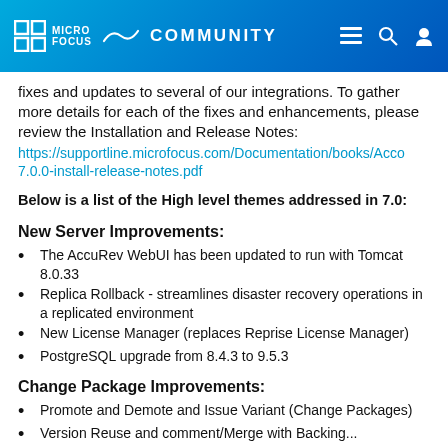MICRO FOCUS COMMUNITY
fixes and updates to several of our integrations. To gather more details for each of the fixes and enhancements, please review the Installation and Release Notes: https://supportline.microfocus.com/Documentation/books/Acco7.0.0-install-release-notes.pdf
Below is a list of the High level themes addressed in 7.0:
New Server Improvements:
The AccuRev WebUI has been updated to run with Tomcat 8.0.33
Replica Rollback - streamlines disaster recovery operations in a replicated environment
New License Manager (replaces Reprise License Manager)
PostgreSQL upgrade from 8.4.3 to 9.5.3
Change Package Improvements:
Promote and Demote and Issue Variant (Change Packages)
Version Reuse and comment/Merge with Backing...